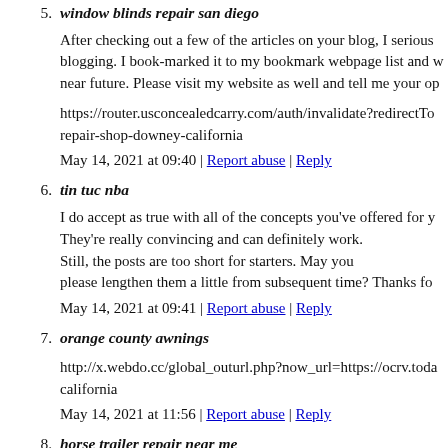5. window blinds repair san diego
After checking out a few of the articles on your blog, I seriously like your technique of blogging. I book-marked it to my bookmark webpage list and will be checking back in the near future. Please visit my website as well and tell me your op
https://router.usconcealedcarry.com/auth/invalidate?redirectTo=repair-shop-downey-california
May 14, 2021 at 09:40 | Report abuse | Reply
6. tin tuc nba
I do accept as true with all of the concepts you've offered for y They're really convincing and can definitely work. Still, the posts are too short for starters. May you please lengthen them a little from subsequent time? Thanks fo
May 14, 2021 at 09:41 | Report abuse | Reply
7. orange county awnings
http://x.webdo.cc/global_outurl.php?now_url=https://ocrv.toda california
May 14, 2021 at 11:56 | Report abuse | Reply
8. horse trailer repair near me
You should take part in a contest for one of the finest blo